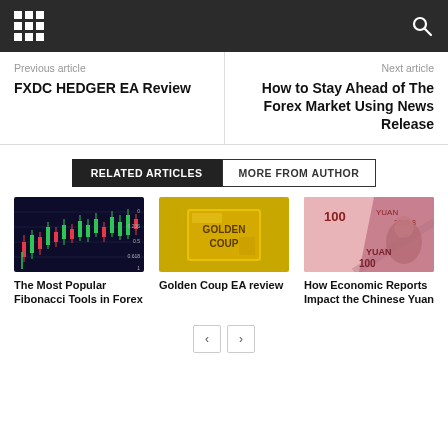Navigation header with grid menu and search icon
Previous article
FXDC HEDGER EA Review
Next article
How to Stay Ahead of The Forex Market Using News Release
RELATED ARTICLES | MORE FROM AUTHOR
[Figure (screenshot): Forex candlestick chart with green and red candles on dark background]
The Most Popular Fibonacci Tools in Forex
[Figure (illustration): Golden Coup logo on gold textured background]
Golden Coup EA review
[Figure (photo): Chinese Yuan 100 banknotes fanned out]
How Economic Reports Impact the Chinese Yuan